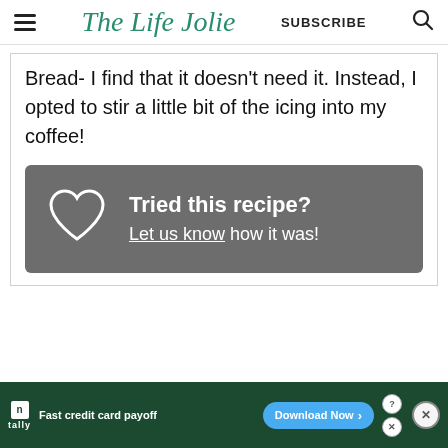The Life Jolie — SUBSCRIBE
Bread- I find that it doesn't need it. Instead, I opted to stir a little bit of the icing into my coffee!
[Figure (infographic): Dark grey rounded rectangle CTA box with heart outline icon on left and text 'Tried this recipe? Let us know how it was!' in white on right]
[Figure (infographic): Tally advertisement banner: dark green background with Tally logo, text 'Fast credit card payoff', Download Now button, info and close icons]